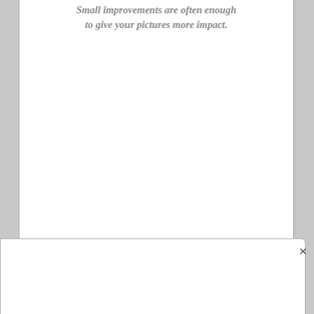Small improvements are often enough to give your pictures more impact.